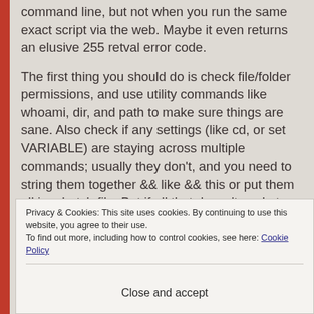command line, but not when you run the same exact script via the web. Maybe it even returns an elusive 255 retval error code.
The first thing you should do is check file/folder permissions, and use utility commands like whoami, dir, and path to make sure things are sane. Also check if any settings (like cd, or set VARIABLE) are staying across multiple commands; usually they don't, and you need to string them together && like && this or put them all in a batch file. But if all that doesn't work, try this.
Privacy & Cookies: This site uses cookies. By continuing to use this website, you agree to their use. To find out more, including how to control cookies, see here: Cookie Policy
Close and accept